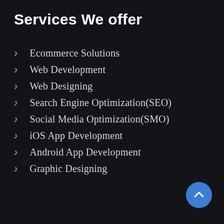Services We offer
Ecommerce Solutions
Web Development
Web Designing
Search Engine Optimization(SEO)
Social Media Optimization(SMO)
iOS App Development
Android App Development
Graphic Designing